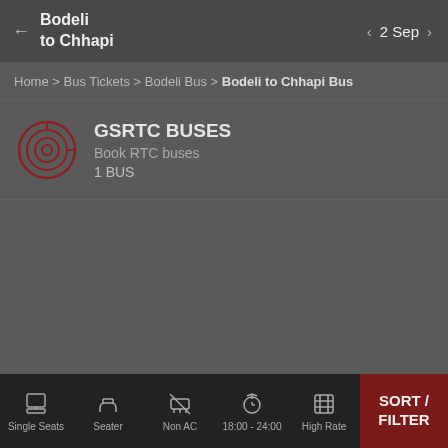Bodeli to Chhapi | 2 Sep
Home > Bus Tickets > Bodeli Bus > Bodeli to Chhapi Bus
GSRTC BUSES
Book RTC buses
1 BUS
Single Seats | Seater | Non AC | 18:00 - 24:00 | High Rate | SORT / FILTER